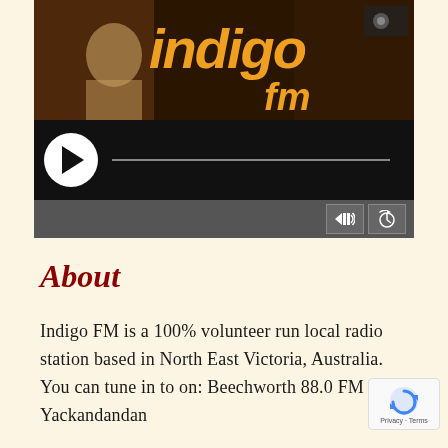[Figure (screenshot): Indigo FM radio station media player widget. Top section shows the Indigo FM logo in orange italic text on a dark brown/black background. Below is a black audio player with a white circular play button on the left, a horizontal progress bar, and a dark grey footer bar with volume and history icons on the right.]
About
Indigo FM is a 100% volunteer run local radio station based in North East Victoria, Australia. You can tune in to on: Beechworth 88.0 FM Yackandandan